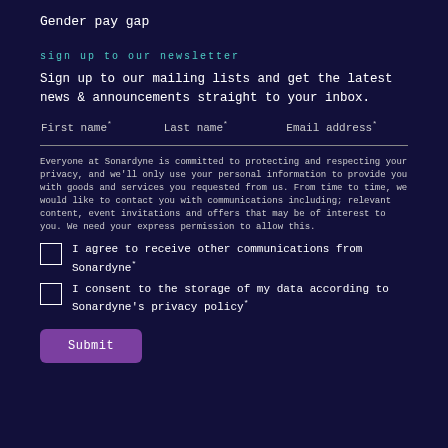Gender pay gap
Sign up to our newsletter
Sign up to our mailing lists and get the latest news & announcements straight to your inbox.
First name*   Last name*   Email address*
Everyone at Sonardyne is committed to protecting and respecting your privacy, and we'll only use your personal information to provide you with goods and services you requested from us. From time to time, we would like to contact you with communications including: relevant content, event invitations and offers that may be of interest to you. We need your express permission to allow this.
I agree to receive other communications from Sonardyne*
I consent to the storage of my data according to Sonardyne's privacy policy*
Submit